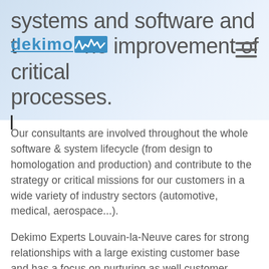systems and software and the improvement of critical processes.
[Figure (logo): Dekimo logo with blue text and waveform graphic, overlaid on the header banner]
Our consultants are involved throughout the whole software & system lifecycle (from design to homologation and production) and contribute to the strategy or critical missions for our customers in a wide variety of industry sectors (automotive, medical, aerospace...).
Dekimo Experts Louvain-la-Neuve cares for strong relationships with a large existing customer base and has a focus on nurturing as well customer intimacy as relationship with its consultants. We are proud to count on long-lasting relationships with trusted